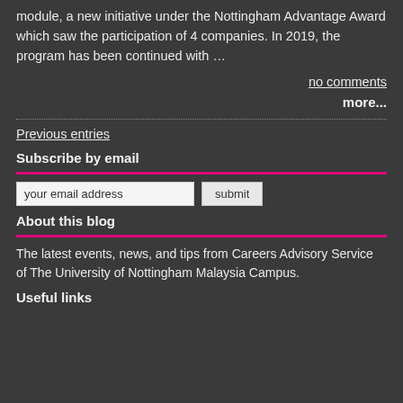module, a new initiative under the Nottingham Advantage Award which saw the participation of 4 companies. In 2019, the program has been continued with …
no comments
more...
Previous entries
Subscribe by email
your email address [input field] submit [button]
About this blog
The latest events, news, and tips from Careers Advisory Service of The University of Nottingham Malaysia Campus.
Useful links